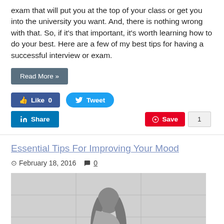exam that will put you at the top of your class or get you into the university you want. And, there is nothing wrong with that. So, if it's that important, it's worth learning how to do your best. Here are a few of my best tips for having a successful interview or exam.
Read More »
[Figure (other): Social sharing buttons: Facebook Like (0), Twitter Tweet, LinkedIn Share, Pinterest Save (1)]
Essential Tips For Improving Your Mood
February 18, 2016   0
[Figure (photo): Black and white photograph of a person with long hair sitting hunched over, appearing sad or contemplative, against a tiled wall background.]